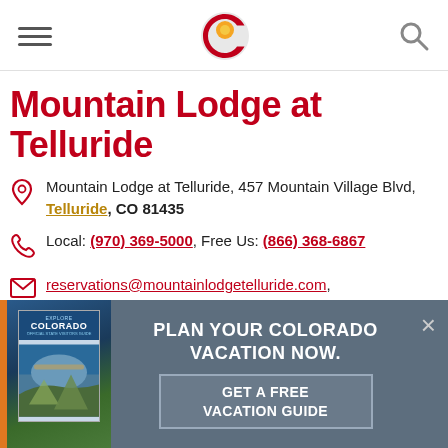Navigation header with hamburger menu, Colorado C logo, and search icon
Mountain Lodge at Telluride
Mountain Lodge at Telluride, 457 Mountain Village Blvd, Telluride, CO 81435
Local: (970) 369-5000, Free Us: (866) 368-6867
reservations@mountainlodgetelluride.com, reservations@mountainlodgetelluride.com
[Figure (infographic): PLAN YOUR COLORADO VACATION NOW. GET A FREE VACATION GUIDE banner with Explore Colorado booklet image on gray background]